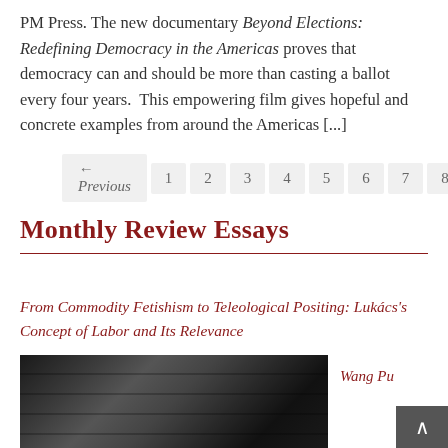PM Press. The new documentary Beyond Elections: Redefining Democracy in the Americas proves that democracy can and should be more than casting a ballot every four years.  This empowering film gives hopeful and concrete examples from around the Americas [...]
← Previous  1  2  3  4  5  6  7  8
Monthly Review Essays
From Commodity Fetishism to Teleological Positing: Lukács's Concept of Labor and Its Relevance
[Figure (photo): Black and white photograph of an elderly man with white hair in profile, seated in front of bookshelves, gesturing with one hand while holding a cigarette.]
Wang Pu